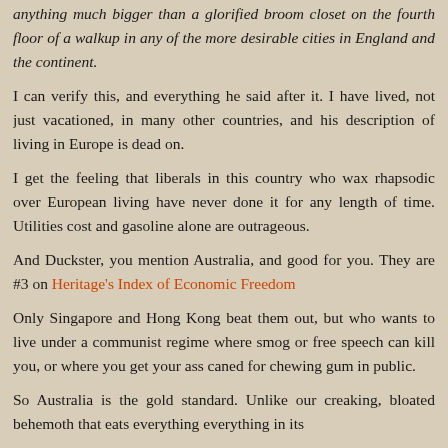anything much bigger than a glorified broom closet on the fourth floor of a walkup in any of the more desirable cities in England and the continent.
I can verify this, and everything he said after it. I have lived, not just vacationed, in many other countries, and his description of living in Europe is dead on.
I get the feeling that liberals in this country who wax rhapsodic over European living have never done it for any length of time. Utilities cost and gasoline alone are outrageous.
And Duckster, you mention Australia, and good for you. They are #3 on Heritage's Index of Economic Freedom
Only Singapore and Hong Kong beat them out, but who wants to live under a communist regime where smog or free speech can kill you, or where you get your ass caned for chewing gum in public.
So Australia is the gold standard. Unlike our creaking, bloated behemoth that eats everything everything in its